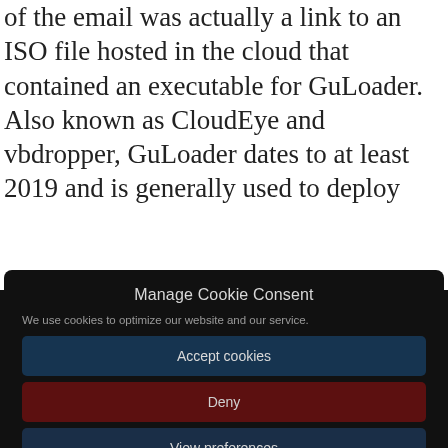of the email was actually a link to an ISO file hosted in the cloud that contained an executable for GuLoader. Also known as CloudEye and vbdropper, GuLoader dates to at least 2019 and is generally used to deploy other malware including Agent Tesla, Formbook,
Manage Cookie Consent
We use cookies to optimize our website and our service.
Accept cookies
Deny
View preferences
Cookie Policy   Privacy Statement